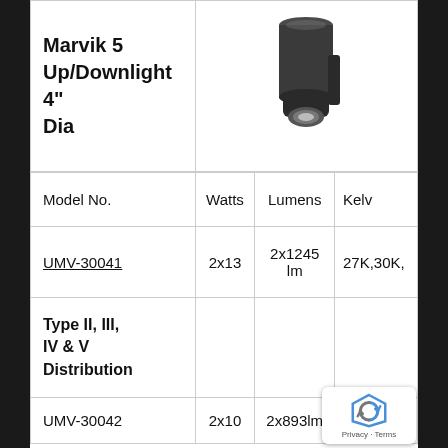| Model No. | Watts | Lumens | Kelvin |
| --- | --- | --- | --- |
| Marvik 5 Up/Downlight 4" Dia | [product image] |  |  |
| Model No. | Watts | Lumens | Kelv… |
| UMV-30041 | 2x13 | 2x1245 lm | 27K,30K,… |
| Type II, III, IV & V Distribution |  |  |  |
| UMV-30042 | 2x10 | 2x893lm | 27K,30K,… |